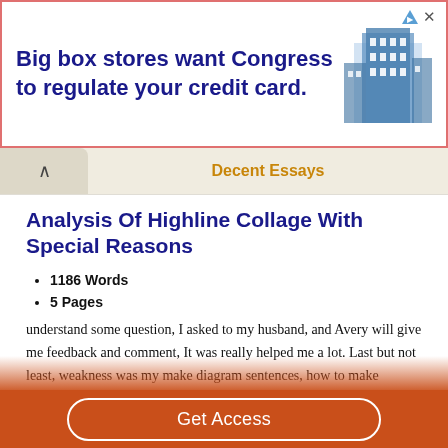[Figure (other): Advertisement banner: 'Big box stores want Congress to regulate your credit card.' with blue building illustration]
Decent Essays
Analysis Of Highline Collage With Special Reasons
1186 Words
5 Pages
understand some question, I asked to my husband, and Avery will give me feedback and comment, It was really helped me a lot. Last but not least, weakness was my make diagram sentences, how to make diagram sentence, and how to write step-by-step. So I was confused about step, which